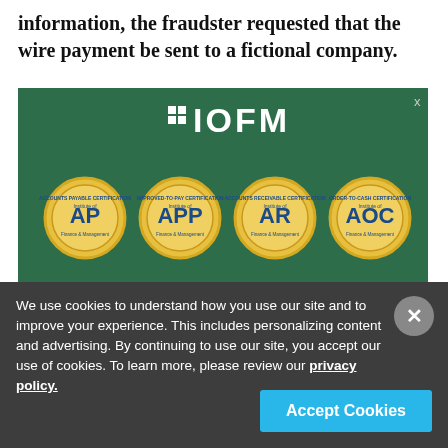information, the fraudster requested that the wire payment be sent to a fictional company.
[Figure (infographic): IOFM certification program advertisement on green background showing AP, APP, AR, AOC certification badges and '20% off Certification Programs' promotion]
We use cookies to understand how you use our site and to improve your experience. This includes personalizing content and advertising. By continuing to use our site, you accept our use of cookies. To learn more, please review our privacy policy.
Accept Cookies